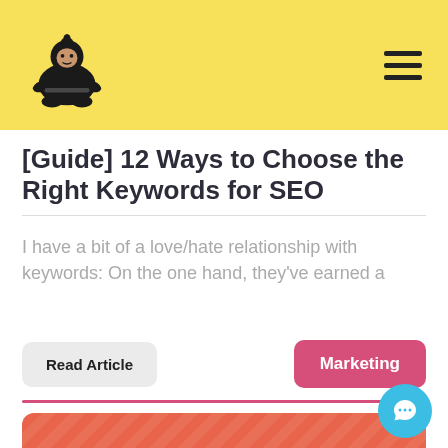Sumo logo and navigation header
[Guide] 12 Ways to Choose the Right Keywords for SEO
I have a bit of a love/hate relationship with keywords: On the one hand, they've earned a
Read Article
Marketing
[Figure (illustration): Orange/coral colored card with diagonal stripe pattern, partially visible at bottom of page]